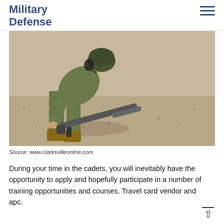Military Defense Weapons
[Figure (photo): A soldier in camouflage uniform and green helmet bending down to handle a weapon/launcher on a gravel surface outdoors.]
Source: www.clarksvilleonline.com
During your time in the cadets, you will inevitably have the opportunity to apply and hopefully participate in a number of training opportunities and courses. Travel card vendor and apc.